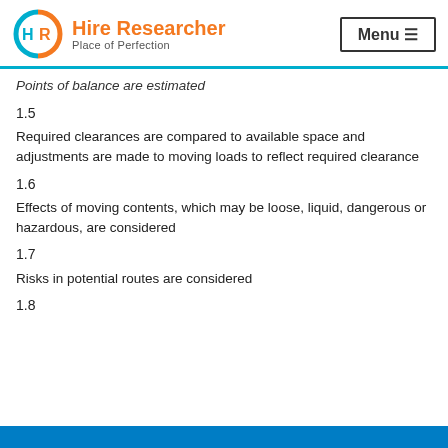Hire Researcher — Place of Perfection | Menu
Points of balance are estimated
1.5
Required clearances are compared to available space and adjustments are made to moving loads to reflect required clearance
1.6
Effects of moving contents, which may be loose, liquid, dangerous or hazardous, are considered
1.7
Risks in potential routes are considered
1.8